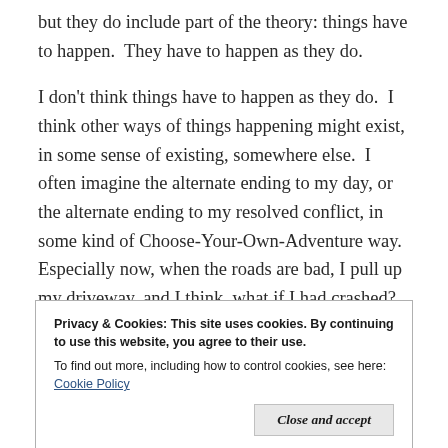but they do include part of the theory: things have to happen.  They have to happen as they do.
I don't think things have to happen as they do.  I think other ways of things happening might exist, in some sense of existing, somewhere else.  I often imagine the alternate ending to my day, or the alternate ending to my resolved conflict, in some kind of Choose-Your-Own-Adventure way.  Especially now, when the roads are bad, I pull up my driveway, and I think, what if I had crashed?  What if I was in the ER right now with a broken leg?  Am I dead in some other version of my life?  Is there a ghost-
Privacy & Cookies: This site uses cookies. By continuing to use this website, you agree to their use.
To find out more, including how to control cookies, see here: Cookie Policy
I like this bit about Quetelet because he's an early